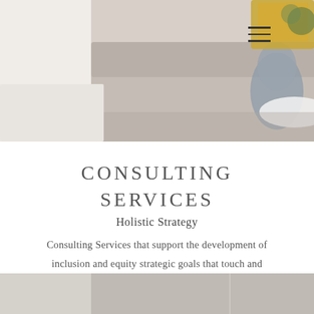[Figure (photo): Top banner photo showing a person seated on a couch with a yellow chair visible in the upper right corner, warm interior setting]
CONSULTING SERVICES
Holistic Strategy
Consulting Services that support the development of inclusion and equity strategic goals that touch and impact all levels of the organization.
[Figure (photo): Bottom partial photo showing a neutral beige/gray interior space]